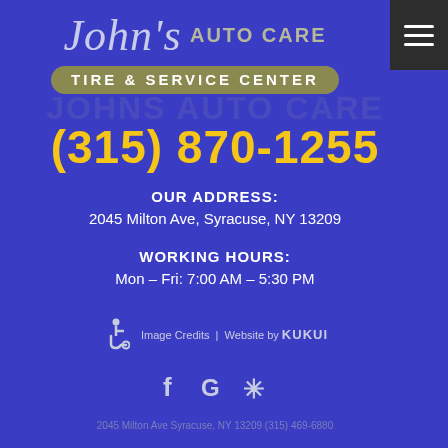[Figure (logo): John's Auto Care – Tire & Service Center logo with script 'John's' text and olive pill-shaped banner]
(315) 870-1255
OUR ADDRESS:
2045 Milton Ave, Syracuse, NY 13209
WORKING HOURS:
Mon – Fri: 7:00 AM – 5:30 PM
Image Credits | Website by KUKUI
[Figure (infographic): Social media icons: Facebook (f), Google (G), Yelp (asterisk/flower)]
2045 Milton Ave Syracuse, NY 13209 (315) 469-6880